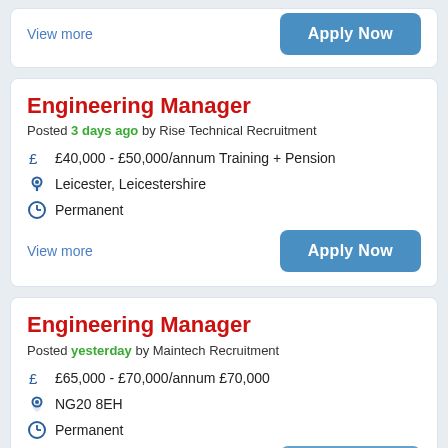View more
Apply Now
Engineering Manager
Posted 3 days ago by Rise Technical Recruitment
£40,000 - £50,000/annum Training + Pension
Leicester, Leicestershire
Permanent
View more
Apply Now
Engineering Manager
Posted yesterday by Maintech Recruitment
£65,000 - £70,000/annum £70,000
NG20 8EH
Permanent